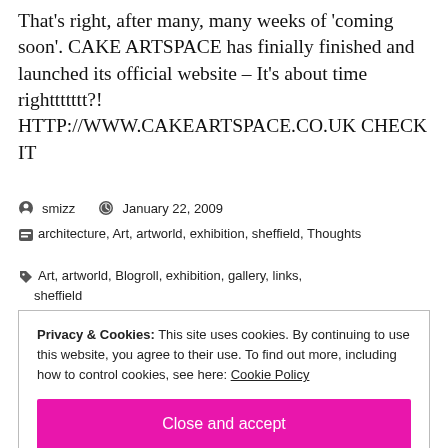That's right, after many, many weeks of 'coming soon'. CAKE ARTSPACE has finially finished and launched its official website – It's about time righttttttt?! HTTP://WWW.CAKEARTSPACE.CO.UK CHECK IT
smizz  January 22, 2009
architecture, Art, artworld, exhibition, sheffield, Thoughts
Art, artworld, Blogroll, exhibition, gallery, links, sheffield
Privacy & Cookies: This site uses cookies. By continuing to use this website, you agree to their use. To find out more, including how to control cookies, see here: Cookie Policy
Close and accept
runnings